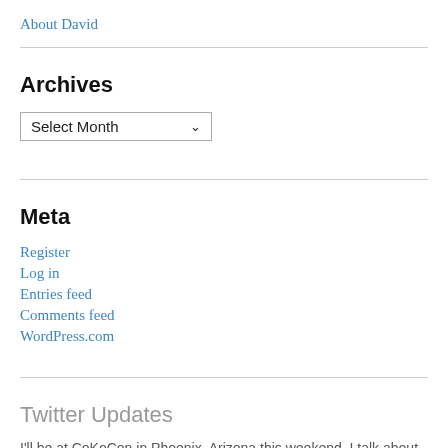About David
Archives
Select Month (dropdown)
Meta
Register
Log in
Entries feed
Comments feed
WordPress.com
Twitter Updates
I'll be at CoKoCon in Phoenix, Arizona this weekend. I talk about the